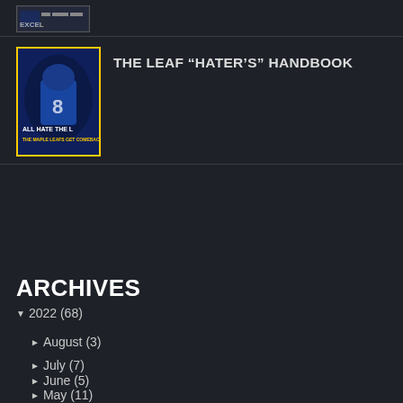[Figure (photo): Partial book or product image at top, cropped]
THE LEAF “HATER’S” HANDBOOK
[Figure (photo): Book cover for The Leaf Hater's Handbook showing hockey player in blue jersey with text ALL HATE THE L and THE MAPLE LEAFS GET COMEBACK in yellow]
ARCHIVES
▼ 2022 (68)
► August (3)
► July (7)
► June (5)
► May (11)
► April (7)